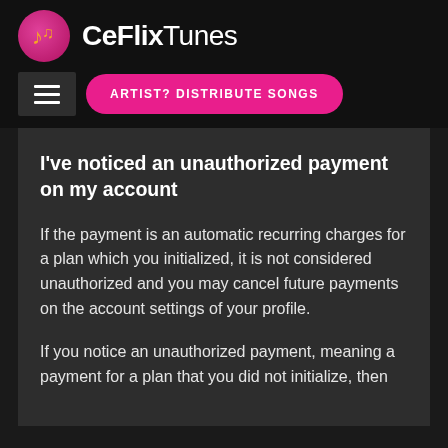CeFlixTunes
I've noticed an unauthorized payment on my account
If the payment is an automatic recurring charges for a plan which you initialized, it is not considered unauthorized and you may cancel future payments on the account settings of your profile.
If you notice an unauthorized payment, meaning a payment for a plan that you did not initialize, then